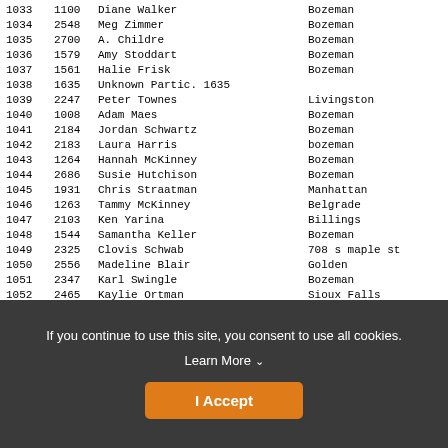| # | ID | Name | Location |
| --- | --- | --- | --- |
| 1033 | 1100 | Diane Walker | Bozeman |
| 1034 | 2548 | Meg Zimmer | Bozeman |
| 1035 | 2700 | A. Childre | Bozeman |
| 1036 | 1579 | Amy Stoddart | Bozeman |
| 1037 | 1561 | Halie Frisk | Bozeman |
| 1038 | 1635 | Unknown Partic. 1635 |  |
| 1039 | 2247 | Peter Townes | Livingston |
| 1040 | 1008 | Adam Maes | Bozeman |
| 1041 | 2184 | Jordan Schwartz | Bozeman |
| 1042 | 2183 | Laura Harris | bozeman |
| 1043 | 1264 | Hannah McKinney | Bozeman |
| 1044 | 2686 | Susie Hutchison | Bozeman |
| 1045 | 1931 | Chris Straatman | Manhattan |
| 1046 | 1263 | Tammy McKinney | Belgrade |
| 1047 | 2103 | Ken Yarina | Billings |
| 1048 | 1544 | Samantha Keller | Bozeman |
| 1049 | 2325 | Clovis Schwab | 708 s maple st |
| 1050 | 2556 | Madeline Blair | Golden |
| 1051 | 2347 | Karl Swingle | Bozeman |
| 1052 | 2465 | Kaylie Ortman | Sioux Falls |
| 1053 | 2466 | Christopher Owusu | Brookings |
| 1054 | 2709 | Trisha Wookey | Bozeman |
If you continue to use this site, you consent to use all cookies.
Learn More
I Accept